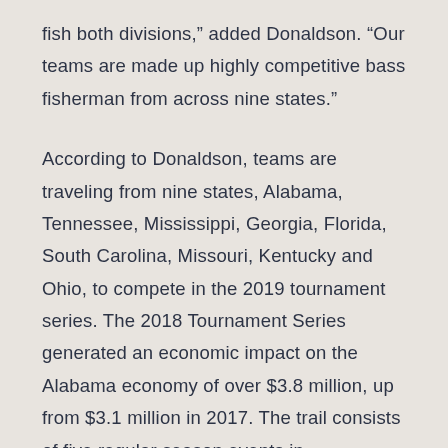fish both divisions,” added Donaldson. “Our teams are made up highly competitive bass fisherman from across nine states.”
According to Donaldson, teams are traveling from nine states, Alabama, Tennessee, Mississippi, Georgia, Florida, South Carolina, Missouri, Kentucky and Ohio, to compete in the 2019 tournament series. The 2018 Tournament Series generated an economic impact on the Alabama economy of over $3.8 million, up from $3.1 million in 2017. The trail consists of five regular season events in